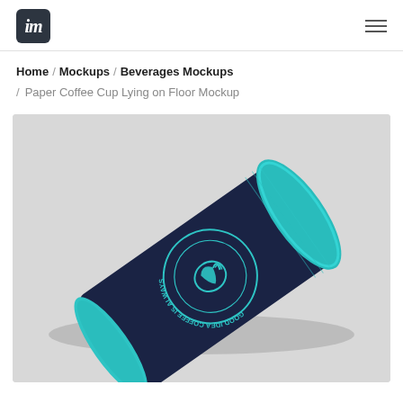im [logo] / hamburger menu
Home / Mockups / Beverages Mockups / Paper Coffee Cup Lying on Floor Mockup
[Figure (photo): A dark navy blue paper coffee cup with a teal/cyan lid lying on its side on a light gray floor. The cup has a circular logo with text 'GOOD IDEA COFFEE IS ALWAYS' around a bird/coffee cup icon, all in teal color.]